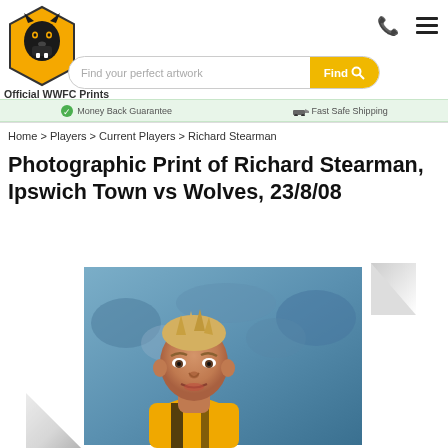[Figure (logo): Wolverhampton Wanderers FC (WWFC) wolf head crest logo in black and gold hexagon shape]
Official WWFC Prints
[Figure (infographic): Phone icon and hamburger menu icon in top right navigation]
Find your perfect artwork
Find
Money Back Guarantee
Fast Safe Shipping
Home > Players > Current Players > Richard Stearman
Photographic Print of Richard Stearman, Ipswich Town vs Wolves, 23/8/08
[Figure (photo): A football player with blonde spiky hair wearing a black and gold Wolverhampton Wanderers jersey, looking forward with mouth slightly open, set against a blurred stadium background]